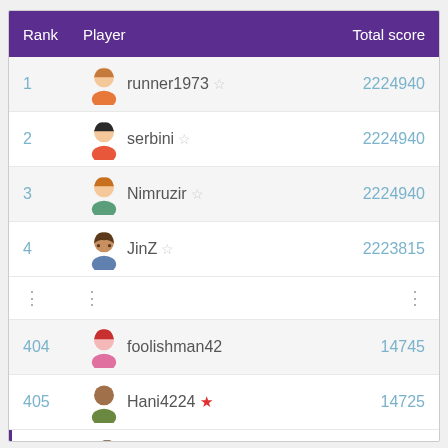| Rank | Player | Total score |
| --- | --- | --- |
| 1 | runner1973 ☆ | 2224940 |
| 2 | serbini ☆ | 2224940 |
| 3 | Nimruzir ☆ | 2224940 |
| 4 | JinZ ☆ | 2223815 |
| ⋮ | ⋮ | ⋮ |
| 404 | foolishman42 | 14745 |
| 405 | Hani4224 ★ | 14725 |
| 406 | sack_maniacs ★ | 14600 |
| 407 | AlexKat ★ | 14590 |
| 408 | BallSudoku2006 ★ | 14460 |
View full table